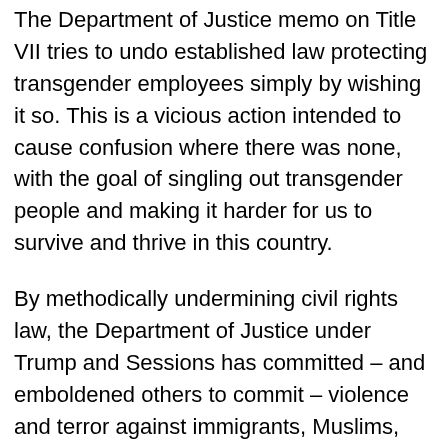The Department of Justice memo on Title VII tries to undo established law protecting transgender employees simply by wishing it so. This is a vicious action intended to cause confusion where there was none, with the goal of singling out transgender people and making it harder for us to survive and thrive in this country.
By methodically undermining civil rights law, the Department of Justice under Trump and Sessions has committed – and emboldened others to commit – violence and terror against immigrants, Muslims, LGBT people, Black people, and communities of color more broadly. This memo is yet another attack in that vein, with the agency charged with upholding the law now encouraging employers to illegally discriminate against